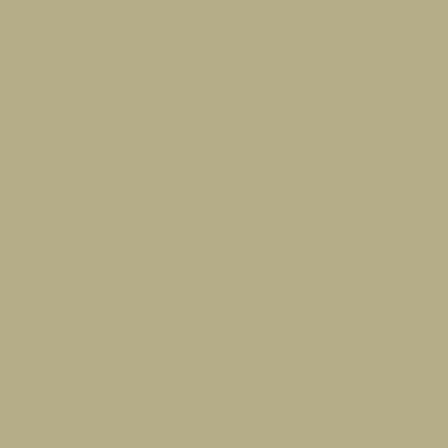use for disposing wastes. hydrologic cycle. All of the humans as well as the or resources for future gene
Recent or upcoming co
Previous blog winners
2021: Arthur Young, "The
2021: Shea Buczkowski,
2020: Rachel Lubitz, "Flo
2020: Leo Samuels, "The
2019: Samantha Luitjens
2018: Katie Stennette, "A
2017: Kimmy Okada, "My
2016: Linda Wang, "Now
2015: Kristina Park, "How
2014: Kevin Beiter, "Bubb
Insect Biodiversity: